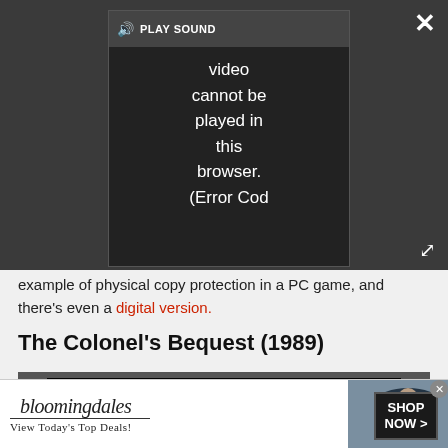[Figure (screenshot): Video player overlay showing 'PLAY SOUND' button and error message: 'Video cannot be played in this browser. (Error Cod' on dark background with close (X) and expand buttons]
example of physical copy protection in a PC game, and there's even a digital version.
The Colonel's Bequest (1989)
[Figure (screenshot): Game screenshot from The Colonel's Bequest showing fingerprint identification screen with magnifying glass prompt, fingerprint circle image, and character list names: Celie, Rudy Dijon, Fifi on left; Jeeves, Col. Dijon, Gloria on right]
[Figure (other): Bloomingdale's advertisement banner: 'bloomingdales / View Today's Top Deals!' with woman in hat image and 'SHOP NOW >' button]